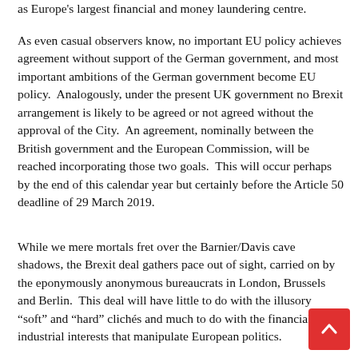as Europe's largest financial and money laundering centre.
As even casual observers know, no important EU policy achieves agreement without support of the German government, and most important ambitions of the German government become EU policy.  Analogously, under the present UK government no Brexit arrangement is likely to be agreed or not agreed without the approval of the City.  An agreement, nominally between the British government and the European Commission, will be reached incorporating those two goals.  This will occur perhaps by the end of this calendar year but certainly before the Article 50 deadline of 29 March 2019.
While we mere mortals fret over the Barnier/Davis cave shadows, the Brexit deal gathers pace out of sight, carried on by the eponymously anonymous bureaucrats in London, Brussels and Berlin.  This deal will have little to do with the illusory “soft” and “hard” clichés and much to do with the financial and industrial interests that manipulate European politics.